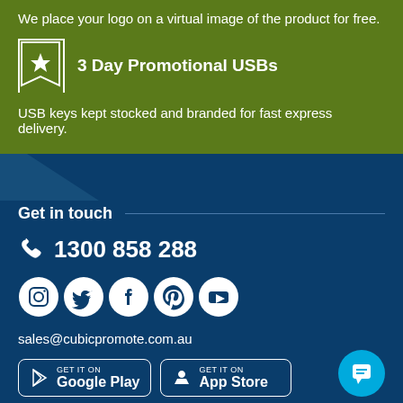We place your logo on a virtual image of the product for free.
3 Day Promotional USBs
USB keys kept stocked and branded for fast express delivery.
Get in touch
1300 858 288
[Figure (infographic): Social media icons: Instagram, Twitter, Facebook, Pinterest, YouTube]
sales@cubicpromote.com.au
[Figure (infographic): Google Play and App Store download badges, plus chat bubble icon]